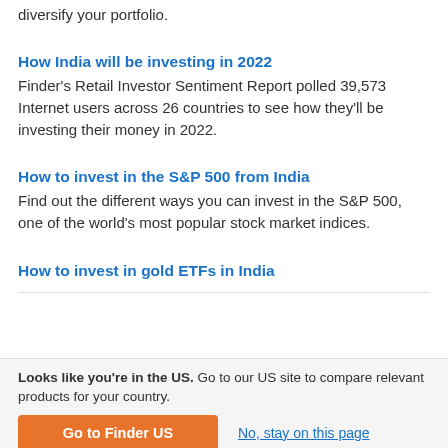diversify your portfolio.
How India will be investing in 2022
Finder's Retail Investor Sentiment Report polled 39,573 Internet users across 26 countries to see how they'll be investing their money in 2022.
How to invest in the S&P 500 from India
Find out the different ways you can invest in the S&P 500, one of the world's most popular stock market indices.
How to invest in gold ETFs in India
Looks like you're in the US. Go to our US site to compare relevant products for your country.